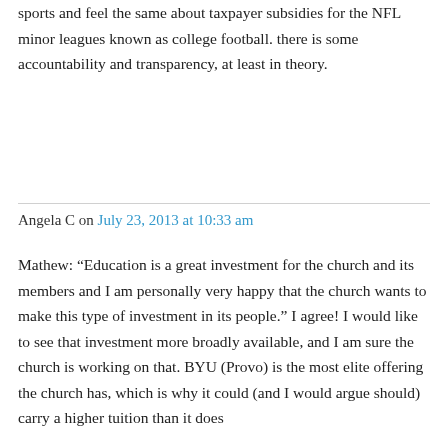sports and feel the same about taxpayer subsidies for the NFL minor leagues known as college football. there is some accountability and transparency, at least in theory.
Angela C on July 23, 2013 at 10:33 am
Mathew: “Education is a great investment for the church and its members and I am personally very happy that the church wants to make this type of investment in its people.” I agree! I would like to see that investment more broadly available, and I am sure the church is working on that. BYU (Provo) is the most elite offering the church has, which is why it could (and I would argue should) carry a higher tuition than it does